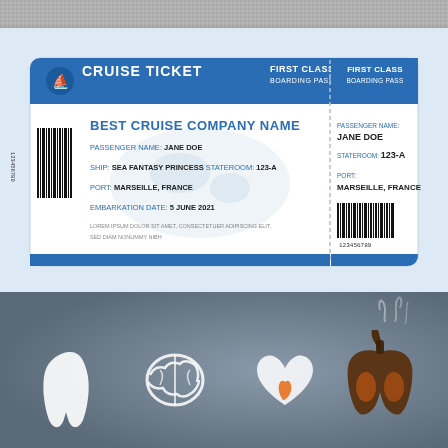[Figure (illustration): Top strip: gray textured background strip at top of page]
[Figure (illustration): Cruise ticket boarding pass illustration on light blue background. Shows 'CRUISE TICKET FIRST CLASS BOARDING PASS' header in blue with ship icon. Main section shows: BEST CRUISE COMPANY NAME, PASSENGER NAME: JANE DOE, SHIP: SEA FANTASY PRINCESS, STATEROOM: 123-A, PORT: MARSEILLE, FRANCE, EMBARKATION DATE: 5 JUNE 2021, lorem ipsum text, barcode with 123456789. Right stub shows: FIRST CLASS BOARDING PASS, PASSENGER NAME: JANE DOE, STATEROOM: 123-A, PORT: MARSEILLE, FRANCE, barcode with 123456789.]
[Figure (illustration): Medical/health illustration on gray gradient background showing white silhouette icons of a tooth, brain, heart, and dark/brown damaged lungs with smoke wisps rising above them, representing smoking damage to organs.]